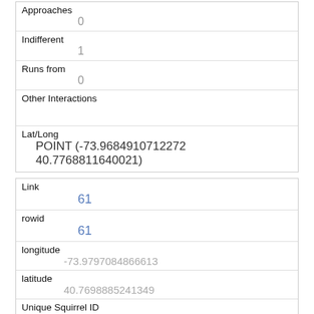| Approaches | 0 |
| Indifferent | 1 |
| Runs from | 0 |
| Other Interactions |  |
| Lat/Long | POINT (-73.9684910712272 40.7768811640021) |
| Link | 61 |
| rowid | 61 |
| longitude | -73.9797084866613 |
| latitude | 40.7698885241349 |
| Unique Squirrel ID | 3A-PM-1017-06 |